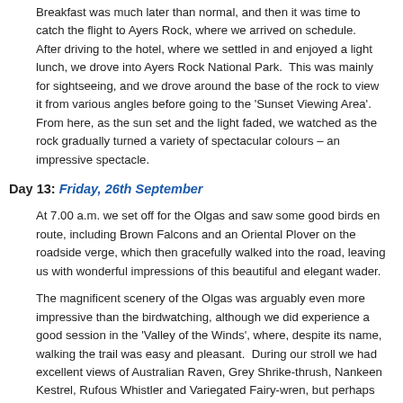Breakfast was much later than normal, and then it was time to catch the flight to Ayers Rock, where we arrived on schedule.  After driving to the hotel, where we settled in and enjoyed a light lunch, we drove into Ayers Rock National Park.  This was mainly for sightseeing, and we drove around the base of the rock to view it from various angles before going to the 'Sunset Viewing Area'.  From here, as the sun set and the light faded, we watched as the rock gradually turned a variety of spectacular colours – an impressive spectacle.
Day 13: Friday, 26th September
At 7.00 a.m. we set off for the Olgas and saw some good birds en route, including Brown Falcons and an Oriental Plover on the roadside verge, which then gracefully walked into the road, leaving us with wonderful impressions of this beautiful and elegant wader.
The magnificent scenery of the Olgas was arguably even more impressive than the birdwatching, although we did experience a good session in the 'Valley of the Winds', where, despite its name, walking the trail was easy and pleasant.  During our stroll we had excellent views of Australian Raven, Grey Shrike-thrush, Nankeen Kestrel, Rufous Whistler and Variegated Fairy-wren, but perhaps the most memorable birds were four Little Woodswallows, which obligingly alighted on a nearby fallen branch.